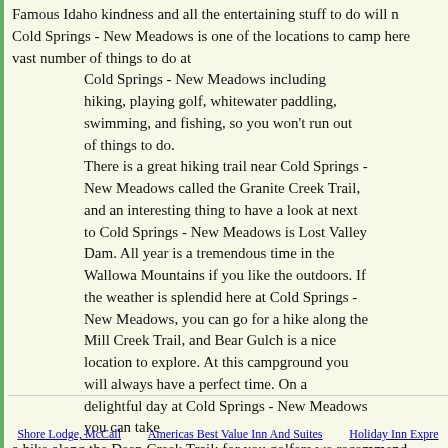Famous Idaho kindness and all the entertaining stuff to do will make Cold Springs - New Meadows is one of the locations to camp here vast number of things to do at Cold Springs - New Meadows including hiking, playing golf, whitewater paddling, swimming, and fishing, so you won't run out of things to do. There is a great hiking trail near Cold Springs - New Meadows called the Granite Creek Trail, and an interesting thing to have a look at next to Cold Springs - New Meadows is Lost Valley Dam. All year is a tremendous time in the Wallowa Mountains if you like the outdoors. If the weather is splendid here at Cold Springs - New Meadows, you can go for a hike along the Mill Creek Trail, and Bear Gulch is a nice location to explore. At this campground you will always have a perfect time. On a delightful day at Cold Springs - New Meadows you can take a hike along the Deep Creek Trail; for you golfers we recommend Course. Cold Springs - New Meadows is next to Ponderosa State P
Shore Lodge, McCall | Americas Best Value Inn And Suites | Holiday Inn Expre